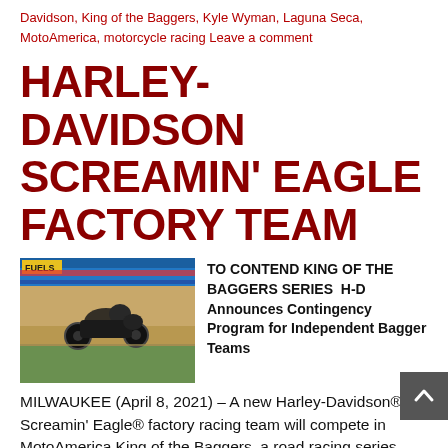Davidson, King of the Baggers, Kyle Wyman, Laguna Seca, MotoAmerica, motorcycle racing Leave a comment
HARLEY-DAVIDSON SCREAMIN' EAGLE FACTORY TEAM
[Figure (photo): Motorcycle racer on a Harley-Davidson bagger leaning into a turn on a racing circuit, with blue barriers and orange/red track surface visible in the background. A 'FUELS' banner is visible at top left.]
TO CONTEND KING OF THE BAGGERS SERIES  H-D Announces Contingency Program for Independent Bagger Teams
MILWAUKEE (April 8, 2021) – A new Harley-Davidson® Screamin' Eagle® factory racing team will compete in MotoAmerica King of the Baggers, a road racing series held in conjunction with the 2021 MotoAmerica HONOS Superbike Series. The team is preparing a Harley-Davidson Road Glide® Special powered by a race-modified  Screamin' Eagle® Milwaukee-Eight 131 Performance Read More »